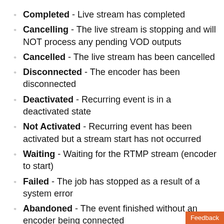Completed - Live stream has completed
Cancelling - The live stream is stopping and will NOT process any pending VOD outputs
Cancelled - The live stream has been cancelled
Disconnected - The encoder has been disconnected
Deactivated - Recurring event is in a deactivated state
Not Activated - Recurring event has been activated but a stream start has not occurred
Waiting - Waiting for the RTMP stream (encoder to start)
Failed - The job has stopped as a result of a system error
Abandoned - The event finished without an encoder being connected